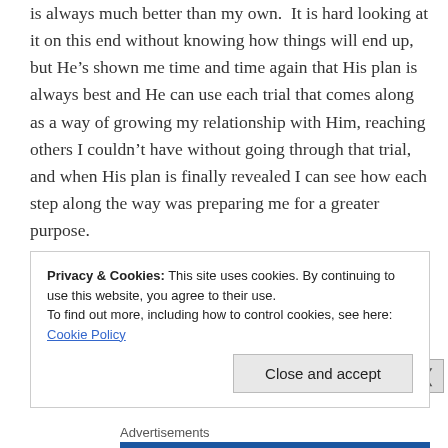is always much better than my own.  It is hard looking at it on this end without knowing how things will end up, but He's shown me time and time again that His plan is always best and He can use each trial that comes along as a way of growing my relationship with Him, reaching others I couldn't have without going through that trial, and when His plan is finally revealed I can see how each step along the way was preparing me for a greater purpose.
Just like every battle, blessings can be found as the dust settles.  There are highs and lows, but through each battle you learn what you're made of, and I've learned a lot
Privacy & Cookies: This site uses cookies. By continuing to use this website, you agree to their use.
To find out more, including how to control cookies, see here: Cookie Policy
Close and accept
Advertisements